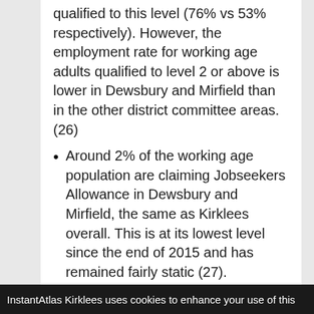qualified to this level (76% vs 53% respectively). However, the employment rate for working age adults qualified to level 2 or above is lower in Dewsbury and Mirfield than in the other district committee areas.(26)
Around 2% of the working age population are claiming Jobseekers Allowance in Dewsbury and Mirfield, the same as Kirklees overall. This is at its lowest level since the end of 2015 and has remained fairly static (27).
Over half of the adult
InstantAtlas Kirklees uses cookies to enhance your use of this